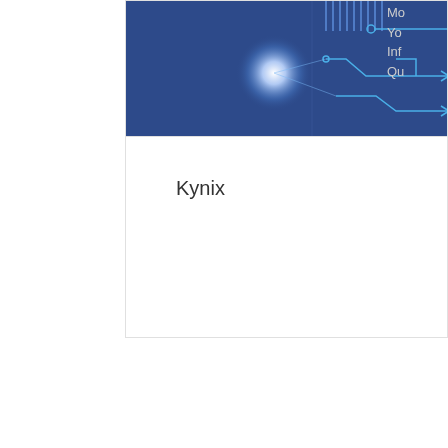[Figure (illustration): Blue circuit board / technology illustration with glowing light center and circuit trace lines on dark blue background]
Kynix